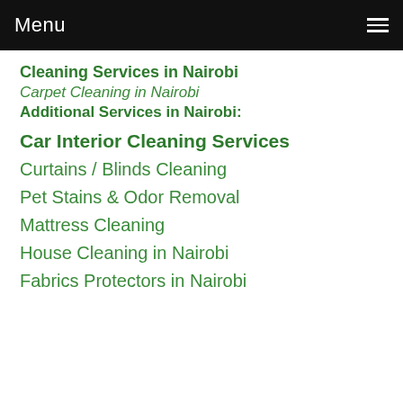Menu
Cleaning Services in Nairobi
Carpet Cleaning in Nairobi
Additional Services in Nairobi:
Car Interior Cleaning Services
Curtains / Blinds Cleaning
Pet Stains & Odor Removal
Mattress Cleaning
House Cleaning in Nairobi
Fabrics Protectors in Nairobi